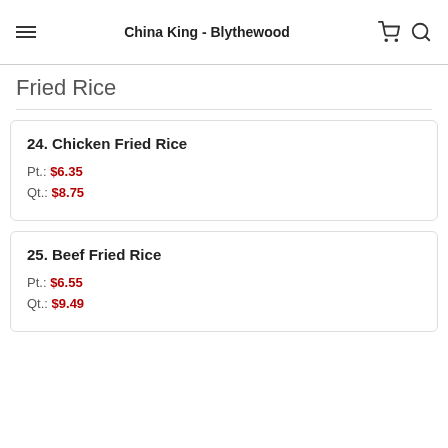China King - Blythewood
Fried Rice
24. Chicken Fried Rice
Pt.: $6.35
Qt.: $8.75
25. Beef Fried Rice
Pt.: $6.55
Qt.: $9.49